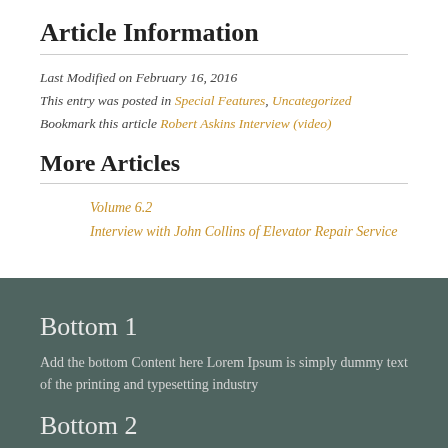Article Information
Last Modified on February 16, 2016
This entry was posted in Special Features, Uncategorized
Bookmark this article Robert Askins Interview (video)
More Articles
Volume 6.2
Interview with John Collins of Elevator Repair Service
Bottom 1
Add the bottom Content here Lorem Ipsum is simply dummy text of the printing and typesetting industry
Bottom 2